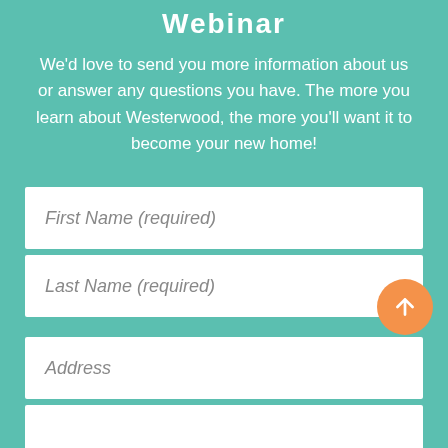Webinar
We'd love to send you more information about us or answer any questions you have. The more you learn about Westerwood, the more you'll want it to become your new home!
First Name (required)
Last Name (required)
Address